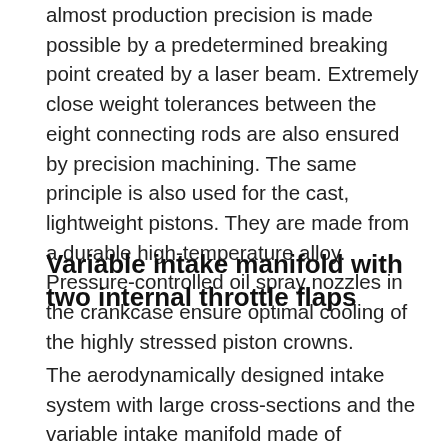almost production precision is made possible by a predetermined breaking point created by a laser beam. Extremely close weight tolerances between the eight connecting rods are also ensured by precision machining. The same principle is also used for the cast, lightweight pistons. They are made from a durable high-temperature alloy. Pressure-controlled oil spray nozzles in the crankcase ensure optimal cooling of the highly stressed piston crowns.
Variable intake manifold with two internal throttle flaps
The aerodynamically designed intake system with large cross-sections and the variable intake manifold made of magnesium with two integrated throttle flaps ensure superlative cylinder charging.